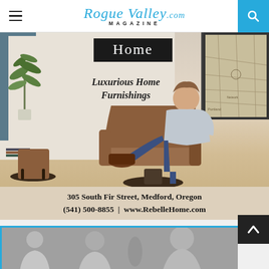Rogue Valley MAGAZINE .com
[Figure (photo): Advertisement for Rebelle Home showing a man reclining in a brown leather Ekornes-style chair with ottoman in a modern interior setting with white brick walls, a plant, a map artwork on the wall, and text overlay 'Home / Luxurious Home Furnishings' with address and phone number]
Home
Luxurious Home Furnishings
305 South Fir Street, Medford, Oregon
(541) 500-8855  |  www.RebelleHome.com
[Figure (photo): Black and white photo of people in a group meeting or conversation setting, partially visible at the bottom of the page]